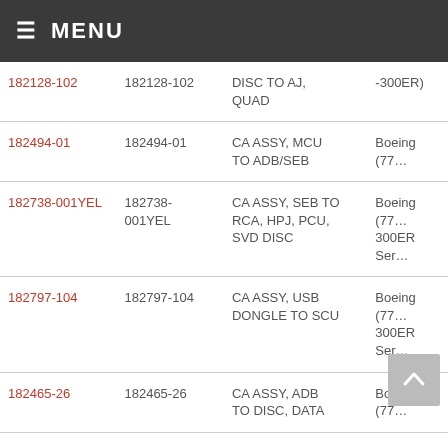≡ MENU
| Part Link | Part Number | Description | Application |
| --- | --- | --- | --- |
| 182128-102 | 182128-102 | DISC TO AJ, QUAD | -300ER) |
| 182494-01 | 182494-01 | CA ASSY, MCU TO ADB/SEB | Boeing (77… |
| 182738-001YEL | 182738-001YEL | CA ASSY, SEB TO RCA, HPJ, PCU, SVD DISC | Boeing (77… 300ER Ser… |
| 182797-104 | 182797-104 | CA ASSY, USB DONGLE TO SCU | Boeing (77… 300ER Ser… |
| 182465-26 | 182465-26 | CA ASSY, ADB TO DISC, DATA | Boeing (77… |
| 181999-072 | 181999-072 | CA ASSY, QSEB-ISPS, RS485 | Boeing (77… 300ER Ser… |